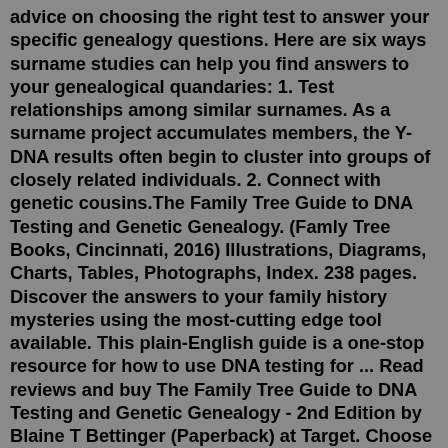advice on choosing the right test to answer your specific genealogy questions. Here are six ways surname studies can help you find answers to your genealogical quandaries: 1. Test relationships among similar surnames. As a surname project accumulates members, the Y-DNA results often begin to cluster into groups of closely related individuals. 2. Connect with genetic cousins.The Family Tree Guide to DNA Testing and Genetic Genealogy. (Famly Tree Books, Cincinnati, 2016) Illustrations, Diagrams, Charts, Tables, Photographs, Index. 238 pages. Discover the answers to your family history mysteries using the most-cutting edge tool available. This plain-English guide is a one-stop resource for how to use DNA testing for ... Read reviews and buy The Family Tree Guide to DNA Testing and Genetic Genealogy - 2nd Edition by Blaine T Bettinger (Paperback) at Target. Choose from Same Day Delivery, Drive Up or Order Pickup. Free standard shipping with $35 orders. Expect More. Pay Less. 23andMe. $99.00. at Amazon. See It. 23andMe offers a trove of information about